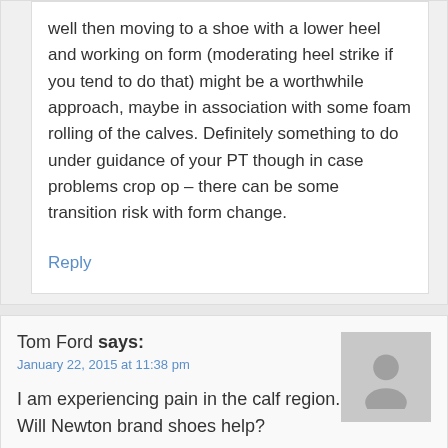well then moving to a shoe with a lower heel and working on form (moderating heel strike if you tend to do that) might be a worthwhile approach, maybe in association with some foam rolling of the calves. Definitely something to do under guidance of your PT though in case problems crop op – there can be some transition risk with form change.
Reply
Tom Ford says:
January 22, 2015 at 11:38 pm
I am experiencing pain in the calf region. Will Newton brand shoes help?